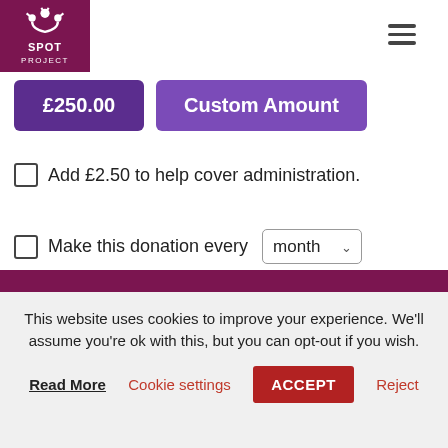[Figure (logo): SPOT Project logo — white crown/people icon on dark magenta background, text SPOT PROJECT]
£250.00
Custom Amount
Add £2.50 to help cover administration.
Make this donation every month
Donate Now
This website uses cookies to improve your experience. We'll assume you're ok with this, but you can opt-out if you wish.
Read More
Cookie settings
ACCEPT
Reject